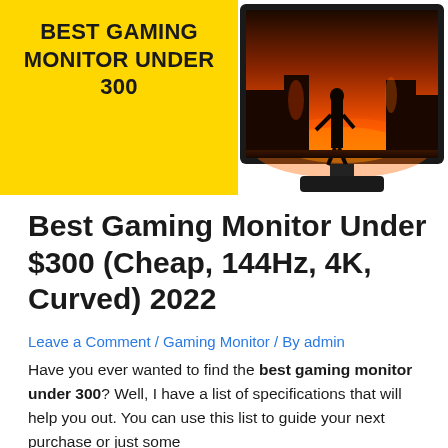[Figure (illustration): Hero image split into two halves: left half is a yellow/gold block with bold black uppercase text 'BEST GAMING MONITOR UNDER 300'; right half shows a gaming monitor displaying a dark atmospheric game scene with a figure silhouetted against orange fire background.]
Best Gaming Monitor Under $300 (Cheap, 144Hz, 4K, Curved) 2022
Leave a Comment / Gaming Monitor / By admin
Have you ever wanted to find the best gaming monitor under 300? Well, I have a list of specifications that will help you out. You can use this list to guide your next purchase or just some